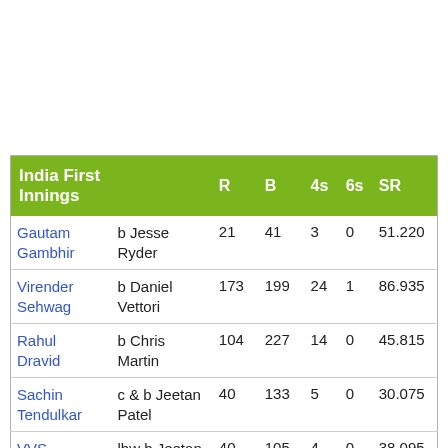| India First Innings |  | R | B | 4s | 6s | SR |
| --- | --- | --- | --- | --- | --- | --- |
| Gautam Gambhir | b Jesse Ryder | 21 | 41 | 3 | 0 | 51.220 |
| Virender Sehwag | b Daniel Vettori | 173 | 199 | 24 | 1 | 86.935 |
| Rahul Dravid | b Chris Martin | 104 | 227 | 14 | 0 | 45.815 |
| Sachin Tendulkar | c & b Jeetan Patel | 40 | 133 | 5 | 0 | 30.075 |
| VVS Laxman | lbw b Jeetan Patel | 40 | 105 | 4 | 0 | 38.095 |